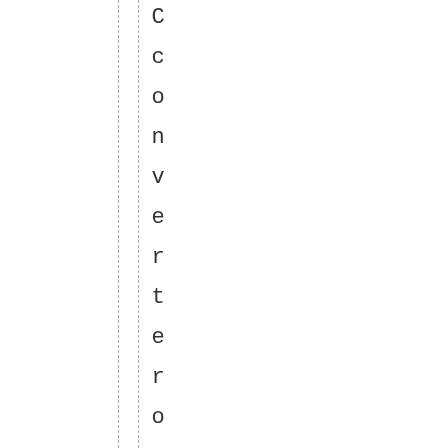Converter on the SKLepin inputs ide.